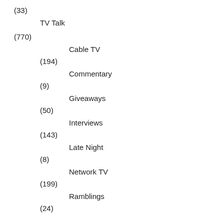(33)
TV Talk
(770)
Cable TV
(194)
Commentary
(9)
Giveaways
(50)
Interviews
(143)
Late Night
(8)
Network TV
(199)
Ramblings
(24)